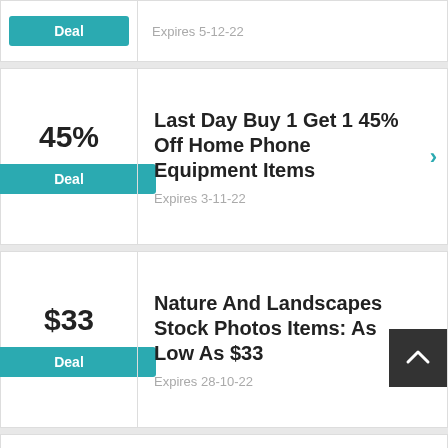Expires 5-12-22
Deal
45%
Deal
Last Day Buy 1 Get 1 45% Off Home Phone Equipment Items
Expires 3-11-22
$33
Deal
Nature And Landscapes Stock Photos Items: As Low As $33
Expires 28-10-22